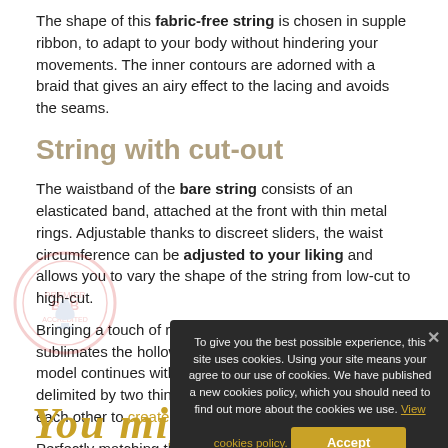The shape of this fabric-free string is chosen in supple ribbon, to adapt to your body without hindering your movements. The inner contours are adorned with a braid that gives an airy effect to the lacing and avoids the seams.
String with cut-out
The waistband of the bare string consists of an elasticated band, attached at the front with thin metal rings. Adjustable thanks to discreet sliders, the waist circumference can be adjusted to your liking and allows you to vary the shape of the string from low-cut to high-cut.
Bringing a touch of refinement, a line of floral guipure sublimates the hollow of the loins. The discovery of the model continues with a V-shaped cut, indented and delimited by two thin elasticated bands that plunge into each other to create the thread of this sexy string
Perfectly matching the topless, this naked string offers a set wi
[Figure (logo): Circular watermark/seal logo in light red/pink, partially visible at lower left]
You might also like
To give you the best possible experience, this site uses cookies. Using your site means your agree to our use of cookies. We have published a new cookies policy, which you should need to find out more about the cookies we use. View cookies policy.